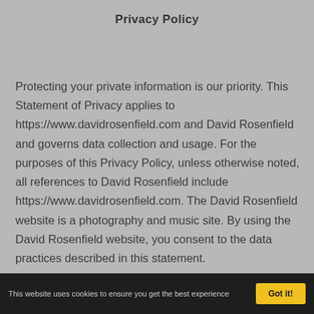Privacy Policy
Protecting your private information is our priority. This Statement of Privacy applies to https://www.davidrosenfield.com and David Rosenfield and governs data collection and usage. For the purposes of this Privacy Policy, unless otherwise noted, all references to David Rosenfield include https://www.davidrosenfield.com. The David Rosenfield website is a photography and music site. By using the David Rosenfield website, you consent to the data practices described in this statement.
This website uses cookies to ensure you get the best experience